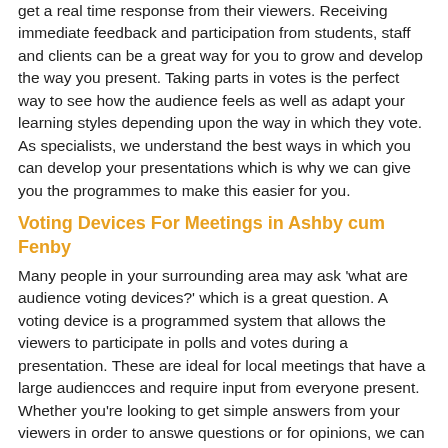get a real time response from their viewers. Receiving immediate feedback and participation from students, staff and clients can be a great way for you to grow and develop the way you present. Taking parts in votes is the perfect way to see how the audience feels as well as adapt your learning styles depending upon the way in which they vote. As specialists, we understand the best ways in which you can develop your presentations which is why we can give you the programmes to make this easier for you.
Voting Devices For Meetings in Ashby cum Fenby
Many people in your surrounding area may ask 'what are audience voting devices?' which is a great question. A voting device is a programmed system that allows the viewers to participate in polls and votes during a presentation. These are ideal for local meetings that have a large audiencces and require input from everyone present. Whether you're looking to get simple answers from your viewers in order to answe questions or for opinions, we can offer you the devices which suit you. Speak to a member of our team today if you're interested in finding out more infotmation and wish to receiver further details. Just fill in the enquiry form below and we will get back to you shortly.